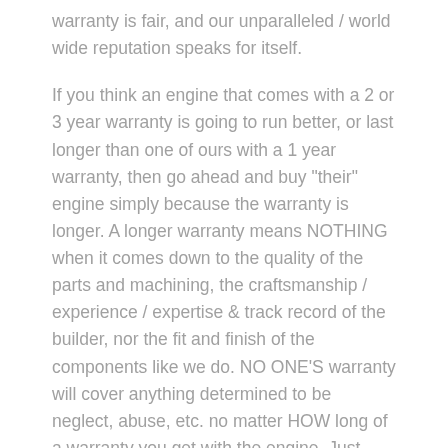warranty is fair, and our unparalleled / world wide reputation speaks for itself.
If you think an engine that comes with a 2 or 3 year warranty is going to run better, or last longer than one of ours with a 1 year warranty, then go ahead and buy "their" engine simply because the warranty is longer. A longer warranty means NOTHING when it comes down to the quality of the parts and machining, the craftsmanship / experience / expertise & track record of the builder, nor the fit and finish of the components like we do. NO ONE'S warranty will cover anything determined to be neglect, abuse, etc. no matter HOW long of a warranty you get with the engine. Just remember that...